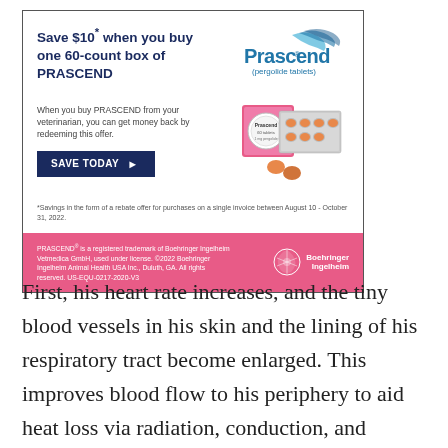[Figure (infographic): Prascend (pergolide tablets) advertisement. Save $10 when you buy one 60-count box of PRASCEND. When you buy PRASCEND from your veterinarian, you can get money back by redeeming this offer. SAVE TODAY button. Product image of blister pack and round tin. Footnote about rebate offer. Pink footer with Boehringer Ingelheim branding.]
First, his heart rate increases, and the tiny blood vessels in his skin and the lining of his respiratory tract become enlarged. This improves blood flow to his periphery to aid heat loss via radiation, conduction, and convection.